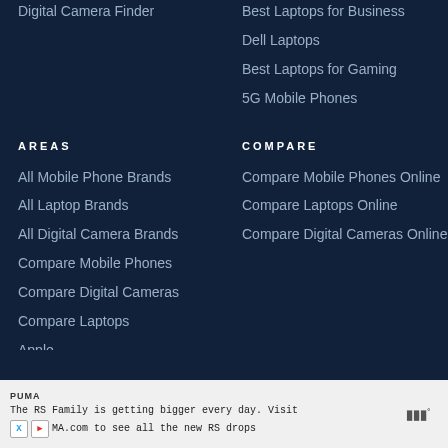Digital Camera Finder
Best Laptops for Business
Dell Laptops
Best Laptops for Gaming
5G Mobile Phones
AREAS
COMPARE
All Mobile Phone Brands
Compare Mobile Phones Online
All Laptop Brands
Compare Laptops Online
All Digital Camera Brands
Compare Digital Cameras Online
Compare Mobile Phones
Compare Digital Cameras
Compare Laptops
Apple
PUMA
The RS Family is getting bigger every day. Visit MA.com to see all the new RS drops